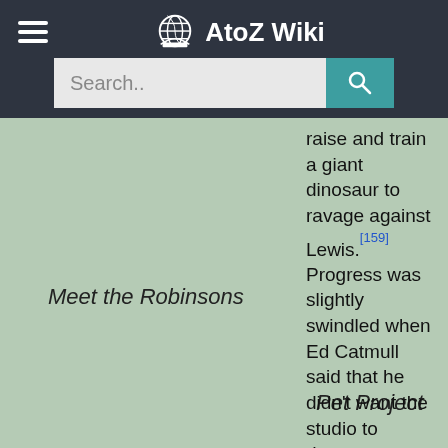AtoZ Wiki
Search..
raise and train a giant dinosaur to ravage against Lewis.[159] Progress was slightly swindled when Ed Catmull said that he didn't want the studio to devote any more time
Meet the Robinsons
Pet Project